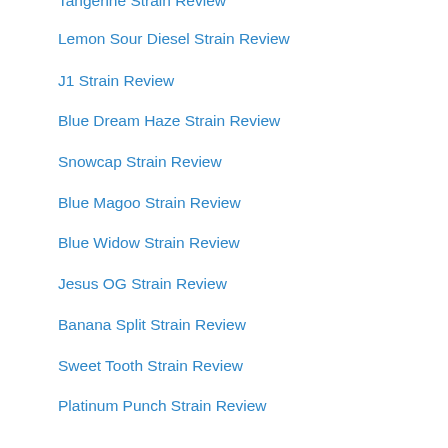Tangerine Strain Review
Lemon Sour Diesel Strain Review
J1 Strain Review
Blue Dream Haze Strain Review
Snowcap Strain Review
Blue Magoo Strain Review
Blue Widow Strain Review
Jesus OG Strain Review
Banana Split Strain Review
Sweet Tooth Strain Review
Platinum Punch Strain Review